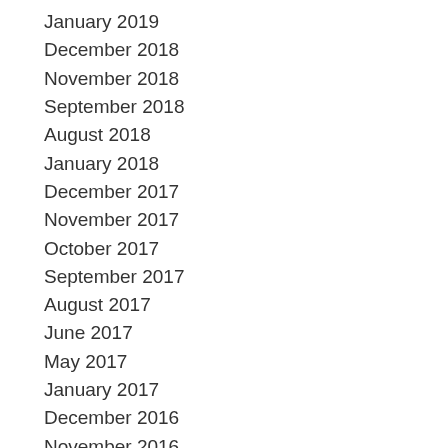January 2019
December 2018
November 2018
September 2018
August 2018
January 2018
December 2017
November 2017
October 2017
September 2017
August 2017
June 2017
May 2017
January 2017
December 2016
November 2016
September 2016
August 2016
February 2016
December 2015
November 2015